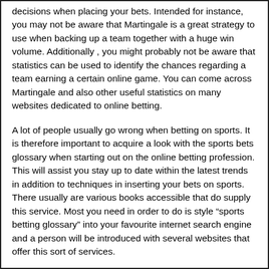decisions when placing your bets. Intended for instance, you may not be aware that Martingale is a great strategy to use when backing up a team together with a huge win volume. Additionally , you might probably not be aware that statistics can be used to identify the chances regarding a team earning a certain online game. You can come across Martingale and also other useful statistics on many websites dedicated to online betting.
A lot of people usually go wrong when betting on sports. It is therefore important to acquire a look with the sports bets glossary when starting out on the online betting profession. This will assist you stay up to date within the latest trends in addition to techniques in inserting your bets on sports. There usually are various books accessible that do supply this service. Most you need in order to do is style “sports betting glossary” into your favourite internet search engine and a person will be introduced with several websites that offer this sort of services.
Most men and women who bet about sports tend in